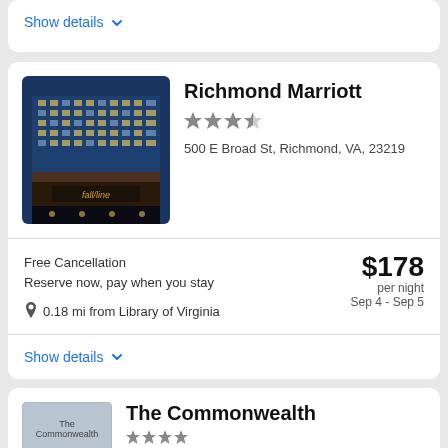Show details
[Figure (photo): Richmond Marriott hotel building exterior at night with illuminated facade and 'fall line' restaurant signage]
Richmond Marriott
★★★½
500 E Broad St, Richmond, VA, 23219
Free Cancellation
Reserve now, pay when you stay
$178 per night
Sep 4 - Sep 5
0.18 mi from Library of Virginia
Show details
[Figure (photo): The Commonwealth hotel image placeholder]
The Commonwealth
★★★★